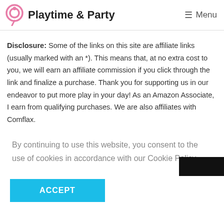Playtime & Party  ≡ Menu
Disclosure: Some of the links on this site are affiliate links (usually marked with an *). This means that, at no extra cost to you, we will earn an affiliate commission if you click through the link and finalize a purchase. Thank you for supporting us in our endeavor to put more play in your day! As an Amazon Associate, I earn from qualifying purchases. We are also affiliates with Comflax.
By continuing to use this website, you consent to the use of cookies in accordance with our Cookie Policy.
ACCEPT